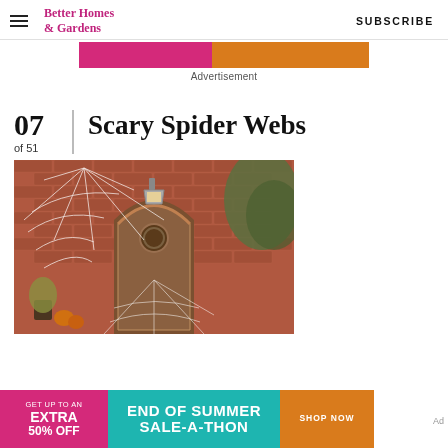Better Homes & Gardens | SUBSCRIBE
[Figure (other): Advertisement banner with pink and orange sections]
Advertisement
07 of 51
Scary Spider Webs
[Figure (photo): A brick house entrance decorated with large white spider webs for Halloween, featuring an arched wooden door with a wreath and a barn wall lamp above.]
[Figure (other): Bottom advertisement banner: GET UP TO AN EXTRA 50% OFF | END OF SUMMER SALE-A-THON | SHOP NOW]